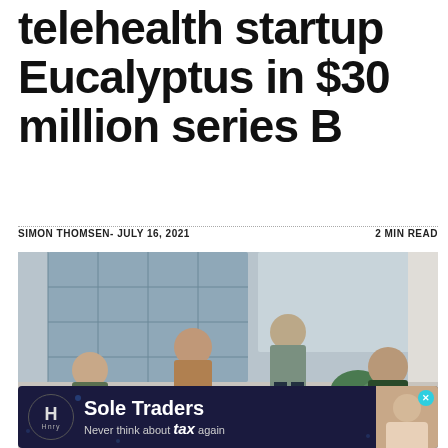telehealth startup Eucalyptus in $30 million series B
SIMON THOMSEN- JULY 16, 2021
2 MIN READ
[Figure (photo): Four young men posing in a modern office with large windows overlooking city buildings. They are wearing casual t-shirts, some with company branding.]
[Figure (infographic): Advertisement banner for Hnry: 'Sole Traders — Never think about tax again'. Dark navy background with company logo, text, and a person smiling on the right side.]